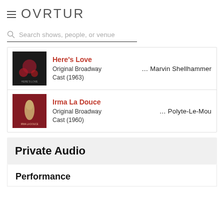OVRTUR
Search shows, people, or venue
Here's Love — Original Broadway Cast (1963) ... Marvin Shellhammer
Irma La Douce — Original Broadway Cast (1960) ... Polyte-Le-Mou
Private Audio
Performance